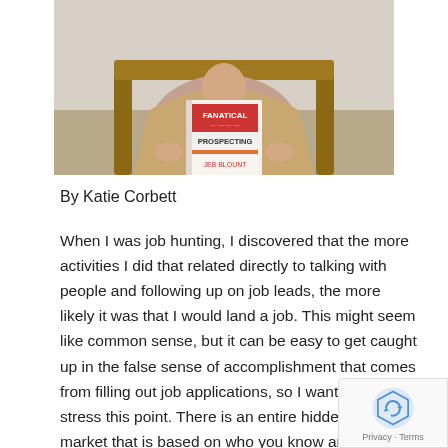[Figure (photo): Person sitting in a chair holding a book titled 'Fanatical Prospecting' by Jeb Blount]
By Katie Corbett
When I was job hunting, I discovered that the more activities I did that related directly to talking with people and following up on job leads, the more likely it was that I would land a job. This might seem like common sense, but it can be easy to get caught up in the false sense of accomplishment that comes from filling out job applications, so I wanted to stress this point. There is an entire hidden job market that is based on who you know and who you talk with, and I have heard of people landing jobs without filling out a single job application. I've done this four time in my career, so I know it's possible.